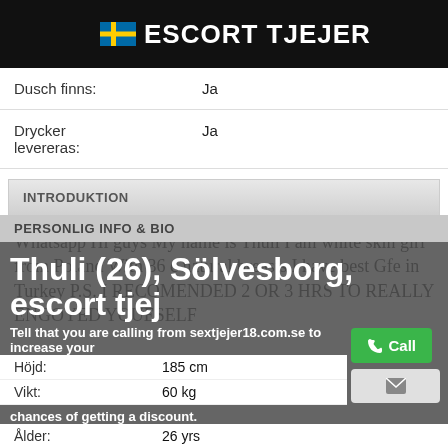ESCORT TJEJER
| Dusch finns: | Ja |
| Drycker levereras: | Ja |
INTRODUKTION
Whatsapp Hi guys My name is Thuli I am white skin girl from Poland With 36 c natural breasts I have best Gfe in Turkey P.S. I RECOMENDED 2 OR 3 HRS TO REALLY ENGOYED YOUESELF
PERSONLIG INFO & BIO
Thuli (26), Sölvesborg, escort tjej
Tell that you are calling from sextjejer18.com.se to increase your chances of getting a discount.
| Höjd: | 185 cm |
| Vikt: | 60 kg |
| Ålder: | 26 yrs |